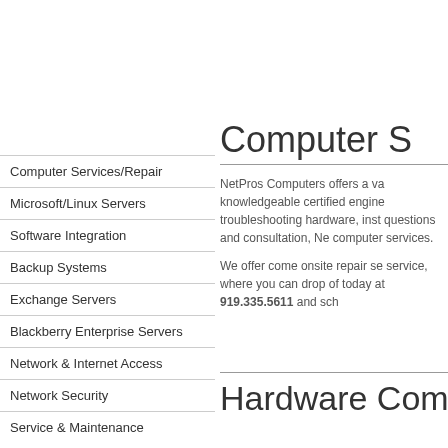Computer Services/Repair
Microsoft/Linux Servers
Software Integration
Backup Systems
Exchange Servers
Blackberry Enterprise Servers
Network & Internet Access
Network Security
Service & Maintenance
Computer S
NetPros Computers offers a va knowledgeable certified engine troubleshooting hardware, inst questions and consultation, Ne computer services.
We offer come onsite repair se service, where you can drop of today at 919.335.5611 and sch
Hardware Com